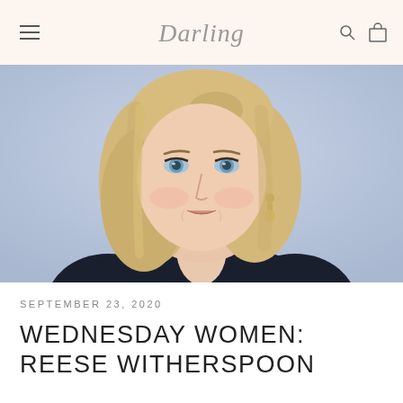Darling
[Figure (photo): Close-up photo of Reese Witherspoon smiling, with blonde bob hair, wearing gold drop earrings and a dark jacket, against a soft blue/lavender background.]
SEPTEMBER 23, 2020
WEDNESDAY WOMEN: REESE WITHERSPOON